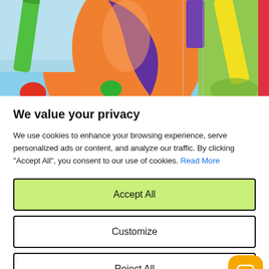[Figure (photo): Colorful crayons or markers close-up, showing green, purple, orange, red, yellow and green items on light blue background]
We value your privacy
We use cookies to enhance your browsing experience, serve personalized ads or content, and analyze our traffic. By clicking "Accept All", you consent to our use of cookies. Read More
Accept All
Customize
Reject All